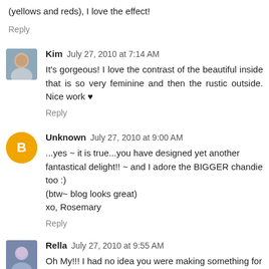(yellows and reds), I love the effect!
Reply
Kim  July 27, 2010 at 7:14 AM
It's gorgeous! I love the contrast of the beautiful inside that is so very feminine and then the rustic outside. Nice work ♥
Reply
Unknown  July 27, 2010 at 9:00 AM
...yes ~ it is true...you have designed yet another fantastical delight!! ~ and I adore the BIGGER chandie too :)
(btw~ blog looks great)
xo, Rosemary
Reply
Rella  July 27, 2010 at 9:55 AM
Oh My!!! I had no idea you were making something for